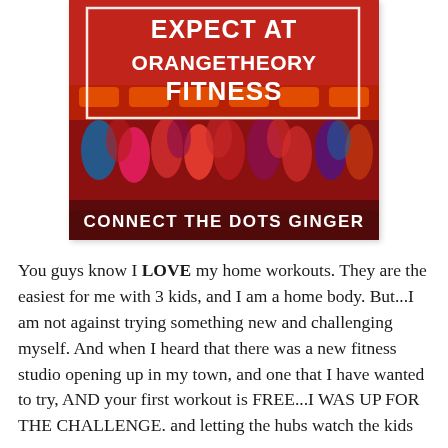[Figure (photo): Photo of an Orangetheory Fitness class with many participants exercising in a red-lit gym. Over the photo is white bold text reading 'EXPECT AT ORANGETHEORY FITNESS' inside a white border rectangle, and at the bottom 'CONNECT THE DOTS GINGER'.]
You guys know I LOVE my home workouts. They are the easiest for me with 3 kids, and I am a home body. But...I am not against trying something new and challenging myself. And when I heard that there was a new fitness studio opening up in my town, and one that I have wanted to try, AND your first workout is FREE...I WAS UP FOR THE CHALLENGE. and letting the hubs watch the kids